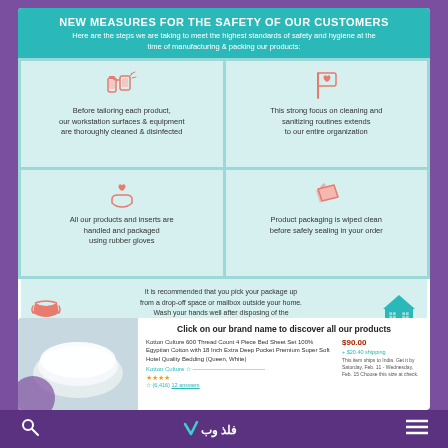NEW MEASURES FOR THE SAFETY OF OUR CUSTOMERS
Here are the steps we are taking to meet the highest standards of safety and hygiene at the time of manufacturing & packing our products:
[Figure (infographic): Four-panel safety infographic with icons. Panel 1: spray bottle icon - Before tailoring each product, our workstation surfaces & equipment are thoroughly cleaned & disinfected. Panel 2: flag with heart icon - This strong focus on cleaning and sanitizing routines extends to our entire organization. Panel 3: hand with heart icon - All our products and inserts are handled and packaged using rubber gloves. Panel 4: wipe/cloth icon - Product packaging is wiped clean before safely sealing in your order. Bottom panel: mask icon and house icon - recommendation about picking up package from drop-off space or mailbox.]
Before tailoring each product, our workstation surfaces & equipment are thoroughly cleaned & disinfected
This strong focus on cleaning and sanitizing routines extends to our entire organization
All our products and inserts are handled and packaged using rubber gloves
Product packaging is wiped clean before safely sealing in your order
It is recommended that you pick your package up from a drop-off space or mailbox outside your home. Wash your hands well after disposing of the packaging. This way, you can remain stress-free about accepting parcels
WITH THESE ENHANCED MEASURES, YOU CAN ORDER FROM THE SAFETY OF YOUR HOME!
Click on our brand name to discover all our products
Kotton Culture 600 Thread Count 4 Piece Bed Sheet Set 100% Egyptian Cotton with 18 Inch Extra Deep Pocket Premium Super Soft Hotel Quality Bedding (Queen, White)
$90.00
+ $20.40 shipping
Search icon | فلذ وب logo | Menu icon